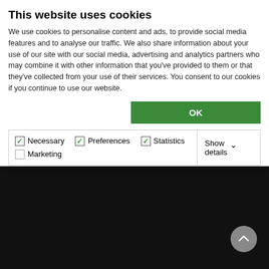tes in the sport's female
We take pride in Australia's best individual athletes who have individual media of 18 U15 would still performance at the prestigious We Super League tournament on August 2015
This website uses cookies
We use cookies to personalise content and ads, to provide social media features and to analyse our traffic. We also share information about your use of our site with our social media, advertising and analytics partners who may combine it with other information that you've provided to them or that they've collected from your use of their services. You consent to our cookies if you continue to use our website.
OK
Necessary  Preferences  Statistics  Marketing  Show details